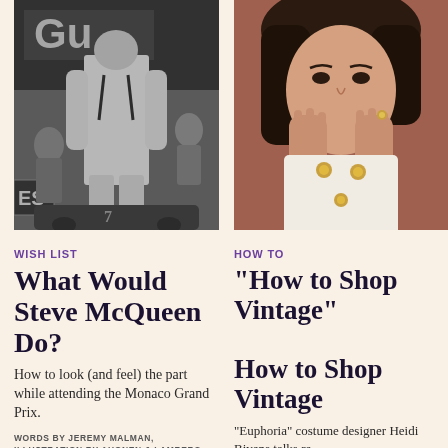[Figure (photo): Black and white photo of a race car driver in a white jumpsuit and helmet straps at what appears to be a racing event, with 'Gulf' branding visible in background]
[Figure (photo): Color photo of a woman with dark hair holding her hands up near her face, wearing a white garment with gold buttons, looking at camera]
WISH LIST
HOW TO
What Would Steve McQueen Do?
How to Shop Vintage
How to look (and feel) the part while attending the Monaco Grand Prix.
"Euphoria" costume designer Heidi Bivens talks re
WORDS BY JEREMY MALMAN, ILLUSTRATION BY AHONEN & LAMBERG
WORDS BY POLINA ARONOVA-CA... BY MAGNUS UNNAR